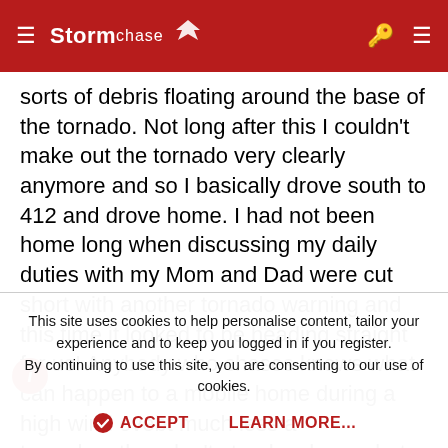StormChase [logo with bird icon] [hamburger menu] [key icon] [menu icon]
sorts of debris floating around the base of the tornado. Not long after this I couldn't make out the tornado very clearly anymore and so I basically drove south to 412 and drove home. I had not been home long when discussing my daily duties with my Mom and Dad were cut short with another tornado warning and this time it looked to be heading straight for us! Anybody who chases knows what can happen to a mobile home during a high wind evebt much less a tornado....they don't stand a chance but back then telling people to leave their mobile home to go out into the weather and find shelter just didn't seem right. We were no exception
This site uses cookies to help personalise content, tailor your experience and to keep you logged in if you register.
By continuing to use this site, you are consenting to our use of cookies.
✔ ACCEPT    LEARN MORE...